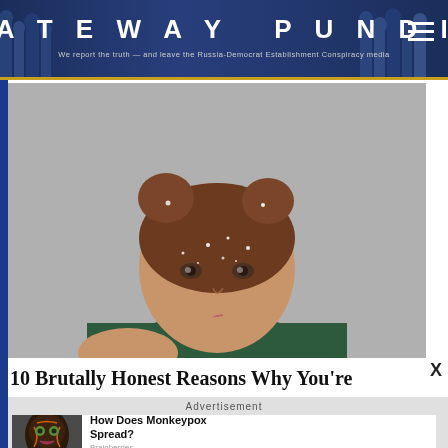GATEWAY PUNDIT
[Figure (photo): Young woman with double bun hairstyle, sparkles/glitter on face and hair, wearing dark green sweater, biting her finger, looking at camera]
10 Brutally Honest Reasons Why You're
Advertisement
[Figure (photo): Woman with artistic face mask/makeup with orange lines, dramatic makeup look]
How Does Monkeypox Spread?
Brainberries